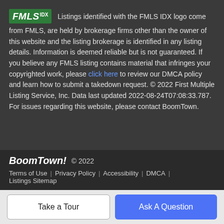Listings identified with the FMLS IDX logo come from FMLS, are held by brokerage firms other than the owner of this website and the listing brokerage is identified in any listing details. Information is deemed reliable but is not guaranteed. If you believe any FMLS listing contains material that infringes your copyrighted work, please click here to review our DMCA policy and learn how to submit a takedown request. © 2022 First Multiple Listing Service, Inc. Data last updated 2022-08-24T07:08:33.787. For issues regarding this website, please contact BoomTown.
[Figure (logo): FMLS IDX logo — green background with italic white FMLS text and IDX superscript]
BoomTown! © 2022
Terms of Use | Privacy Policy | Accessibility | DMCA | Listings Sitemap
Take a Tour
Ask A Question